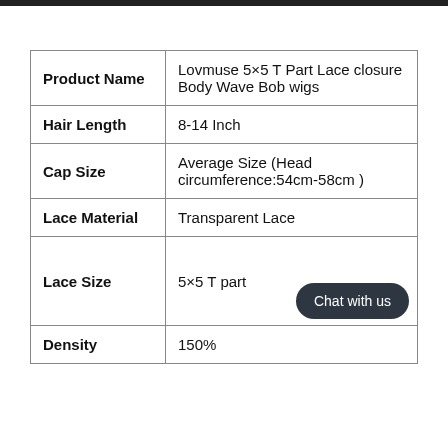|  |  |
| --- | --- |
| Product Name | Lovmuse 5×5 T Part Lace closure Body Wave Bob wigs |
| Hair Length | 8-14 Inch |
| Cap Size | Average Size (Head circumference:54cm-58cm ) |
| Lace Material | Transparent Lace |
| Lace Size | 5×5 T part |
| Density | 150% |